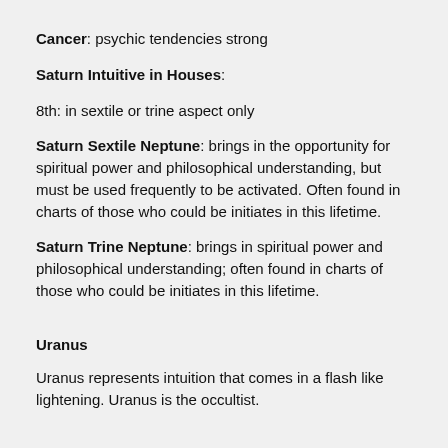Cancer: psychic tendencies strong
Saturn Intuitive in Houses:
8th: in sextile or trine aspect only
Saturn Sextile Neptune: brings in the opportunity for spiritual power and philosophical understanding, but must be used frequently to be activated. Often found in charts of those who could be initiates in this lifetime.
Saturn Trine Neptune: brings in spiritual power and philosophical understanding; often found in charts of those who could be initiates in this lifetime.
Uranus
Uranus represents intuition that comes in a flash like lightening. Uranus is the occultist.